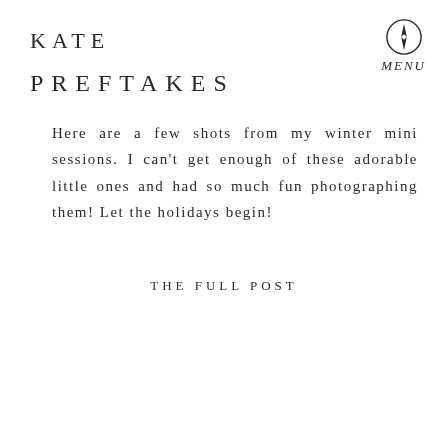KATE
[Figure (illustration): Compass/navigation icon — a circle with a compass needle inside, used as a menu button icon]
MENU
PREFTAKES
Here are a few shots from my winter mini sessions. I can't get enough of these adorable little ones and had so much fun photographing them! Let the holidays begin!
THE FULL POST